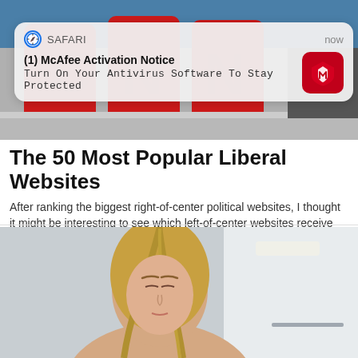[Figure (screenshot): CNN logo building exterior with large red CNN letters, partially visible at top]
[Figure (screenshot): iOS Safari push notification overlay: '(1) McAfee Activation Notice - Turn On Your Antivirus Software To Stay Protected' with McAfee red shield icon]
The 50 Most Popular Liberal Websites
After ranking the biggest right-of-center political websites, I thought it might be interesting to see which left-of-center websites receive the most traffic. So, I went ...
[Figure (photo): Woman with blonde hair in a shower/bathroom setting, eyes closed, cropped at bottom of page]